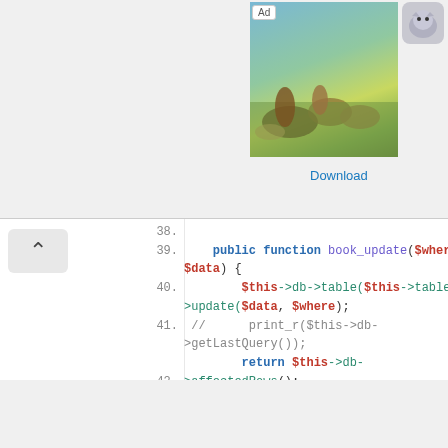[Figure (screenshot): Ad banner with game image showing animals in a landscape, wolf icon, 'Join' text, and Download link]
[Figure (screenshot): Code editor screenshot showing PHP code lines 38-47 with syntax highlighting. Functions book_update and delete_by_id with $this->db->table calls.]